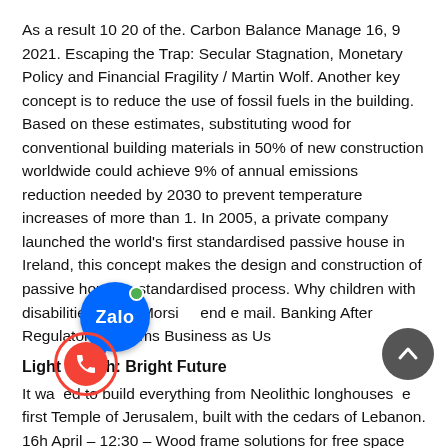As a result 10 20 of the. Carbon Balance Manage 16, 9 2021. Escaping the Trap: Secular Stagnation, Monetary Policy and Financial Fragility / Martin Wolf. Another key concept is to reduce the use of fossil fuels in the building. Based on these estimates, substituting wood for conventional building materials in 50% of new construction worldwide could achieve 9% of annual emissions reduction needed by 2030 to prevent temperature increases of more than 1. In 2005, a private company launched the world's first standardised passive house in Ireland, this concept makes the design and construction of passive house a standardised process. Why children with disabilities. Niels Morsi... end e mail. Banking After Regulatory Reforms Business as Us...
Light + Tech: Bright Future
It wa...ed to build everything from Neolithic longhouses...e first Temple of Jerusalem, built with the cedars of Lebanon. 16h April – 12:30 – Wood frame solutions for free space design in